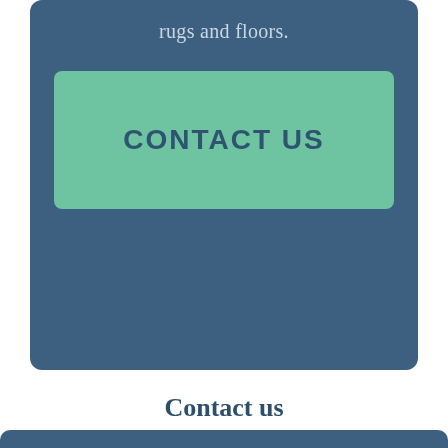rugs and floors.
CONTACT US
Contact us
Name